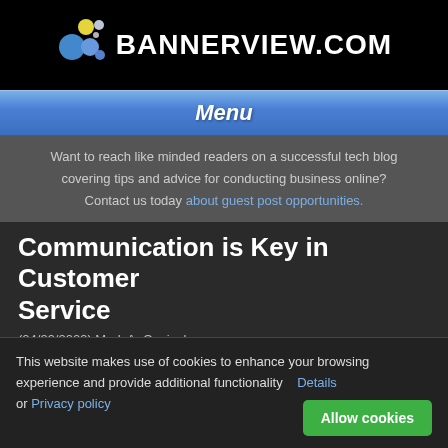BannerView.com
Menu
Want to reach like minded readers on a successful tech blog covering tips and advice for conducting business online? Contact us today about guest post opportunities.
Communication is Key in Customer Service
(04/29/2009) Mark A. Cenicola
Recently, I ran into a situation with a company in which I've done
This website makes use of cookies to enhance your browsing experience and provide additional functionality   Details
or Privacy policy   Allow cookies